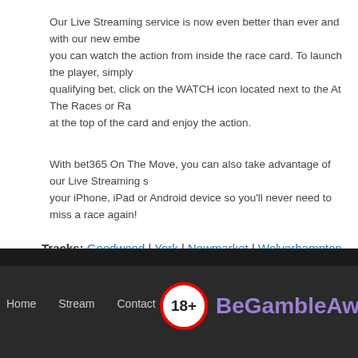Our Live Streaming service is now even better than ever and with our new embedded player, you can watch the action from inside the race card. To launch the player, simply place a qualifying bet, click on the WATCH icon located next to the At The Races or Racing UK logo at the top of the card and enjoy the action.

With bet365 On The Move, you can also take advantage of our Live Streaming service on your iPhone, iPad or Android device so you'll never need to miss a race again!
Tracks: Goodwood | York | Newmarket | Wolverhampton
IMPORTANT NOTICE - In partnership with bet365 we offer over 140,000 live streamed events per year, please note that the intellectual property rights to stream such events are usually owned at a national level; therefore, depending on your location, there may be certain events that you may be unable to view due to such restrictions. Prior to joining bet365 and funding your account therefore in order to view any particular event on the bet365 live stream, you are strongly advised to first check with bet365 that, given your country of residence, you would be eligible to view the live streamed event in question. Bet365's contact details can be found at bet365.com, then clicking 'Services' at the top right of the page, and then choosing the 'Contact' option.
Home  Stream  Contact  18+ BeGambleAware